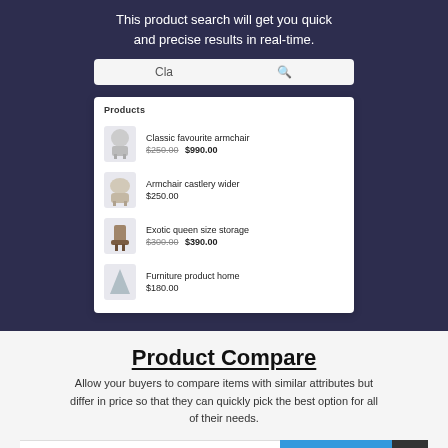This product search will get you quick and precise results in real-time.
[Figure (screenshot): Search bar with text 'Cla' and a dropdown showing 4 product results: Classic favourite armchair, Armchair castlery wider, Exotic queen size storage, Furniture product home]
Product Compare
Allow your buyers to compare items with similar attributes but differ in price so that they can quickly pick the best option for all of their needs.
[Figure (screenshot): Bottom bar with red, yellow, green dots on white background, a blue LIVE CHAT button with chat icon, and a dark arrow-up button]